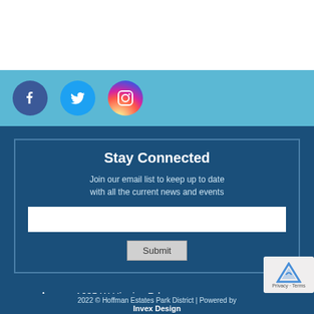[Figure (other): Social media icons: Facebook (blue circle), Twitter (blue circle), Instagram (gradient circle) on a light blue bar]
Stay Connected
Join our email list to keep up to date with all the current news and events
1685 W Higgins Rd
Hoffman Estates, IL 60169
(847) 885-7500
2022 © Hoffman Estates Park District | Powered by Invex Design